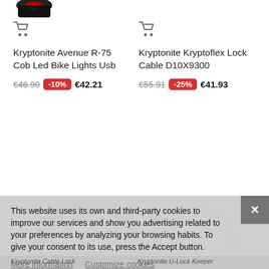[Figure (screenshot): Shopping cart icon for first product]
Kryptonite Avenue R-75 Cob Led Bike Lights Usb
€46.90  -10%  €42.21
[Figure (screenshot): Shopping cart icon for second product]
Kryptonite Kryptoflex Lock Cable D10X9300
€55.91  -25%  €41.93
This website uses its own and third-party cookies to improve our services and show you advertising related to your preferences by analyzing your browsing habits. To give your consent to its use, press the Accept button.
More information    Customize cookies
REJECT ALL
I ACCEPT
Kryptonite Cable Lock    Kryptonite U-Lock Keeper